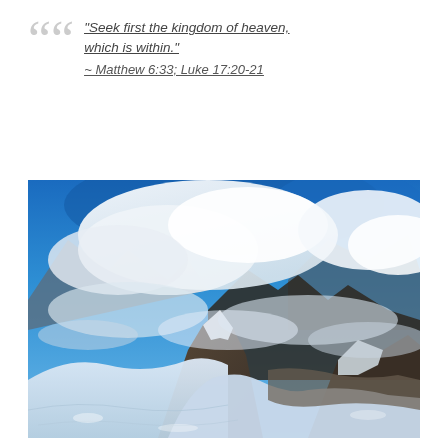"Seek first the kingdom of heaven, which is within." ~ Matthew 6:33; Luke 17:20-21
[Figure (photo): Aerial mountain landscape photograph showing snowy peaks, dramatic rocky summits in the foreground, and a sweeping view of clouds, glaciers, and valleys below under a deep blue sky.]